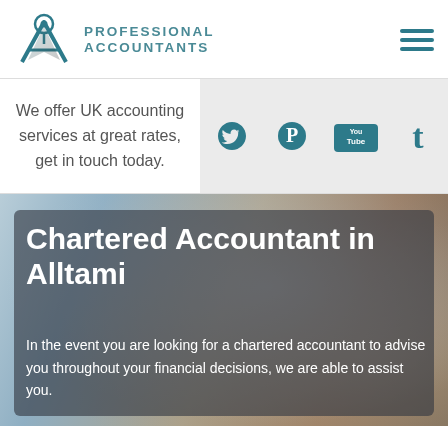[Figure (logo): Professional Accountants logo with a stylized A/location pin icon and teal text reading PROFESSIONAL ACCOUNTANTS]
[Figure (infographic): Hamburger menu icon with three teal horizontal bars]
We offer UK accounting services at great rates, get in touch today.
[Figure (infographic): Social media icons: Twitter bird, Pinterest P, YouTube logo, Tumblr t — all in teal on light grey background]
Chartered Accountant in Alltami
In the event you are looking for a chartered accountant to advise you throughout your financial decisions, we are able to assist you.